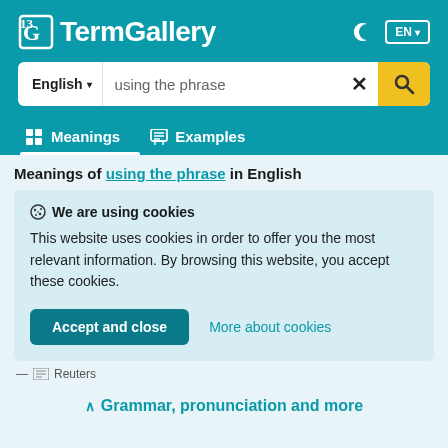TG TermGallery — EN
English ▾  using the phrase  ✕  🔍
Meanings   Examples
Meanings of using the phrase in English
🍪 We are using cookies
This website uses cookies in order to offer you the most relevant information. By browsing this website, you accept these cookies.
Accept and close   More about cookies
— Reuters
∧ Grammar, pronunciation and more